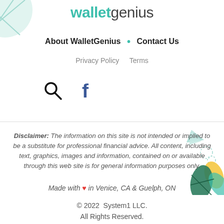walletgenius
About WalletGenius • Contact Us
Privacy Policy  Terms
[Figure (illustration): Search icon (magnifying glass) and Facebook logo icon]
Disclaimer: The information on this site is not intended or implied to be a substitute for professional financial advice. All content, including text, graphics, images and information, contained on or available through this web site is for general information purposes only.
Made with ♥ in Venice, CA & Guelph, ON
© 2022  System1 LLC.
All Rights Reserved.